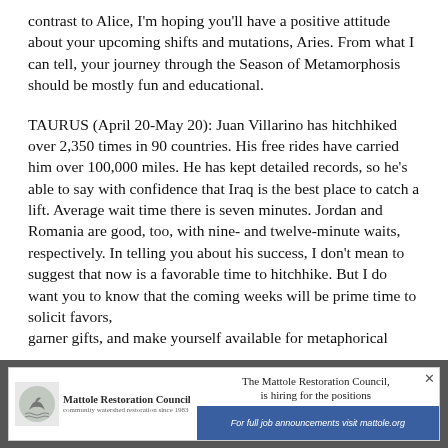contrast to Alice, I'm hoping you'll have a positive attitude about your upcoming shifts and mutations, Aries. From what I can tell, your journey through the Season of Metamorphosis should be mostly fun and educational.
TAURUS (April 20-May 20): Juan Villarino has hitchhiked over 2,350 times in 90 countries. His free rides have carried him over 100,000 miles. He has kept detailed records, so he's able to say with confidence that Iraq is the best place to catch a lift. Average wait time there is seven minutes. Jordan and Romania are good, too, with nine- and twelve-minute waits, respectively. In telling you about his success, I don't mean to suggest that now is a favorable time to hitchhike. But I do want you to know that the coming weeks will be prime time to solicit favors, garner gifts, and make yourself available for metaphorical
[Figure (infographic): Advertisement banner for Mattole Restoration Council. Logo with bird/nature image on left, text 'Mattole Restoration Council, community watershed restoration since 1983'. Right side reads 'The Mattole Restoration Council, is hiring for the positions' with blue button 'For full job announcements visit mattole.org'. Close button X in top right.]